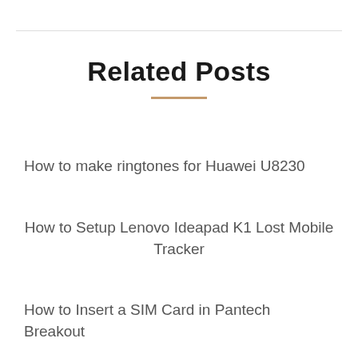Related Posts
How to make ringtones for Huawei U8230
How to Setup Lenovo Ideapad K1 Lost Mobile Tracker
How to Insert a SIM Card in Pantech Breakout